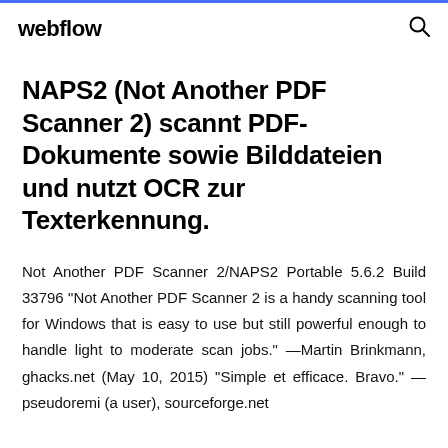webflow
NAPS2 (Not Another PDF Scanner 2) scannt PDF-Dokumente sowie Bilddateien und nutzt OCR zur Texterkennung.
Not Another PDF Scanner 2/NAPS2 Portable 5.6.2 Build 33796 "Not Another PDF Scanner 2 is a handy scanning tool for Windows that is easy to use but still powerful enough to handle light to moderate scan jobs." —Martin Brinkmann, ghacks.net (May 10, 2015) "Simple et efficace. Bravo." —pseudoremi (a user), sourceforge.net